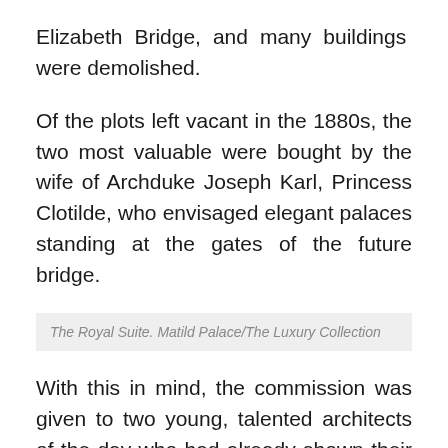Elizabeth Bridge, and many buildings were demolished.
Of the plots left vacant in the 1880s, the two most valuable were bought by the wife of Archduke Joseph Karl, Princess Clotilde, who envisaged elegant palaces standing at the gates of the future bridge.
The Royal Suite. Matild Palace/The Luxury Collection
With this in mind, the commission was given to two young, talented architects of the day who had already shown their advance thinking in the design of the New York Palace.
The eclectic Klotild Palaces, which rise like a graceful